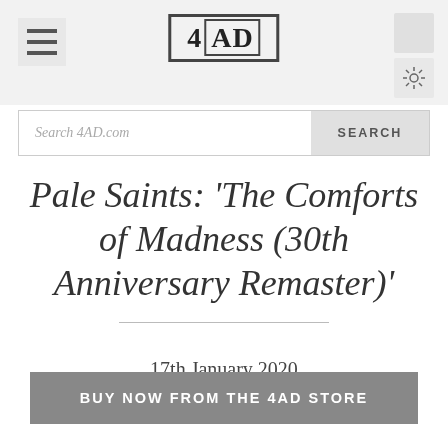4AD
Search 4AD.com
Pale Saints: 'The Comforts of Madness (30th Anniversary Remaster)'
17th January 2020
BUY NOW FROM THE 4AD STORE